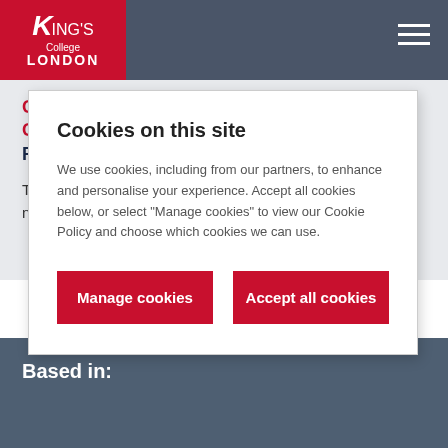King's College London
Cookies on this site
We use cookies, including from our partners, to enhance and personalise your experience. Accept all cookies below, or select "Manage cookies" to view our Cookie Policy and choose which cookies we can use.
Manage cookies | Accept all cookies
Geography launches its new MA in Geopolitics, Resources and Territory
The King's Geography Department is proud to launch the new Geopolitics, Resources and Territory...
Based in: